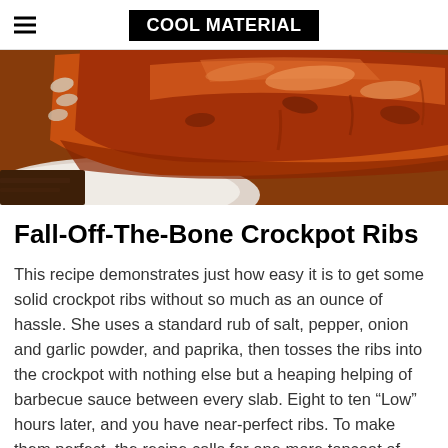COOL MATERIAL
[Figure (photo): Close-up photo of glazed BBQ ribs with sauce on a white plate, warm tones of red-orange and brown]
Fall-Off-The-Bone Crockpot Ribs
This recipe demonstrates just how easy it is to get some solid crockpot ribs without so much as an ounce of hassle. She uses a standard rub of salt, pepper, onion and garlic powder, and paprika, then tosses the ribs into the crockpot with nothing else but a heaping helping of barbecue sauce between every slab. Eight to ten “Low” hours later, and you have near-perfect ribs. To make them perfect, the recipe calls for one more topcoat of barbecue sauce on each slab,